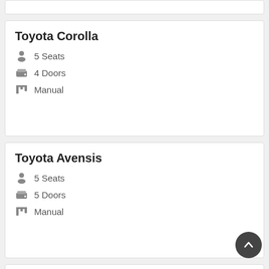Toyota Corolla
5 Seats
4 Doors
Manual
Toyota Avensis
5 Seats
5 Doors
Manual